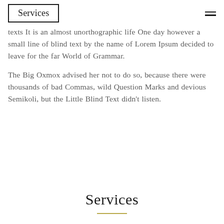Services
texts It is an almost unorthographic life One day however a small line of blind text by the name of Lorem Ipsum decided to leave for the far World of Grammar.
The Big Oxmox advised her not to do so, because there were thousands of bad Commas, wild Question Marks and devious Semikoli, but the Little Blind Text didn't listen.
Services